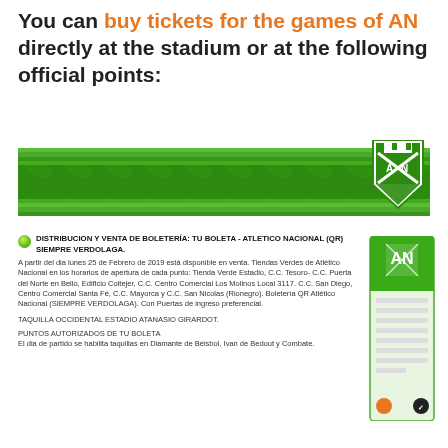You can buy tickets for the games of AN directly at the stadium or at the following official points:
[Figure (illustration): Atletico Nacional green banner with club crest and ticket image]
DISTRIBUCION Y VENTA DE BOLETERÍA: TU BOLETA - ATLETICO NACIONAL (QR) SIEMPRE VERDOLAGA.
A partir del dia lunes 25 de Febrero de 2019 está disponible en venta. Tiendas Verdes de Atlético Nacional en los horarios de apertura de cada punto: Tienda Verde Estadio, C.C. Tesoro- C.C. Puerta del Norte en Bello, Edificio Coltejer, C.C. Centro Comercial Los Molinos Local 3117. C.C. San Diego, Centro Comercial Santa Fé, C.C. Mayorca y C.C. San Nicolas (Rionegro). Boletería QR Atlético Nacional (SIEMPRE VERDOLAGA). Con Puertas de ingreso preferencial.
TAQUILLA OCCIDENTAL ESTADIO ATANASIO GIRARDOT.
PUNTOS AUTORIZADOS DE TU BOLETA
El dia de partido se habilita taquillas en Diamante de Béisbol, Ivan de Bedout y Combate.